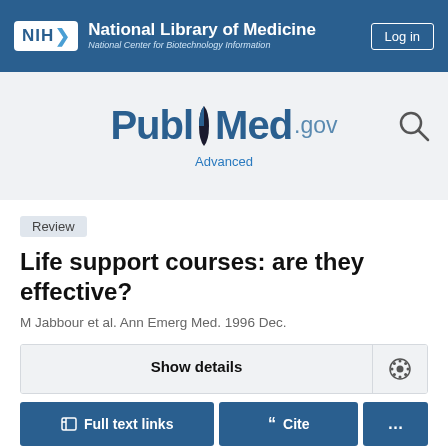[Figure (screenshot): NIH National Library of Medicine / National Center for Biotechnology Information header bar with Log in button]
[Figure (logo): PubMed.gov logo with search icon and Advanced link]
Review
Life support courses: are they effective?
M Jabbour et al. Ann Emerg Med. 1996 Dec.
Show details
Full text links
Cite